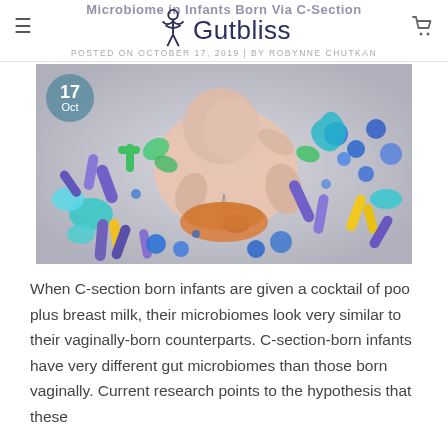Microbiome in Infants Born Via C-Section
Gutbliss | POSTED ON OCTOBER 17, 2019 | BY ROBYNNE CHUTKAN
[Figure (illustration): 3D illustration of a baby/infant surrounded by colorful microbiome bacteria and microorganisms in various shapes and colors (blue, purple, teal, yellow, orange), representing the gut microbiome.]
When C-section born infants are given a cocktail of poo plus breast milk, their microbiomes look very similar to their vaginally-born counterparts. C-section-born infants have very different gut microbiomes than those born vaginally. Current research points to the hypothesis that these